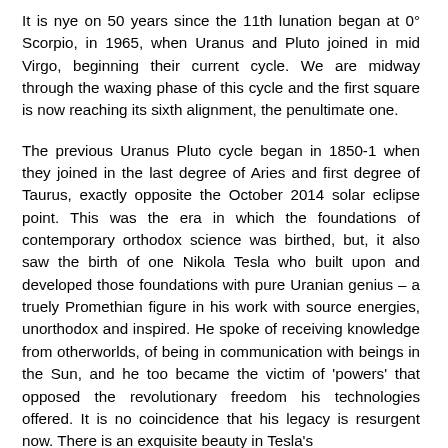It is nye on 50 years since the 11th lunation began at 0° Scorpio, in 1965, when Uranus and Pluto joined in mid Virgo, beginning their current cycle. We are midway through the waxing phase of this cycle and the first square is now reaching its sixth alignment, the penultimate one.
The previous Uranus Pluto cycle began in 1850-1 when they joined in the last degree of Aries and first degree of Taurus, exactly opposite the October 2014 solar eclipse point. This was the era in which the foundations of contemporary orthodox science was birthed, but, it also saw the birth of one Nikola Tesla who built upon and developed those foundations with pure Uranian genius – a truely Promethian figure in his work with source energies, unorthodox and inspired. He spoke of receiving knowledge from otherworlds, of being in communication with beings in the Sun, and he too became the victim of 'powers' that opposed the revolutionary freedom his technologies offered. It is no coincidence that his legacy is resurgent now. There is an exquisite beauty in Tesla's